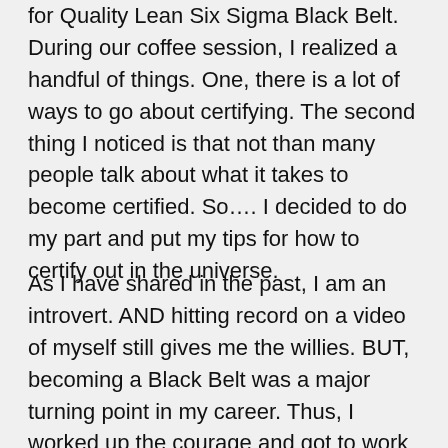for Quality Lean Six Sigma Black Belt. During our coffee session, I realized a handful of things. One, there is a lot of ways to go about certifying. The second thing I noticed is that not than many people talk about what it takes to become certified. So…. I decided to do my part and put my tips for how to certify out in the universe.
As I have shared in the past, I am an introvert. AND hitting record on a video of myself still gives me the willies. BUT, becoming a Black Belt was a major turning point in my career. Thus, I worked up the courage and got to work